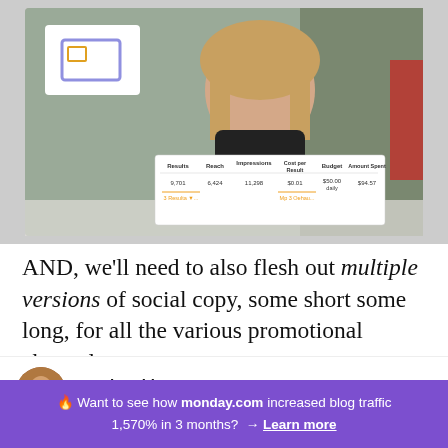[Figure (screenshot): Screenshot of a video tutorial showing a woman presenter with a social media advertising results table overlay. The table shows columns: Results, Reach, Impressions, Cost per Result, Budget, Amount Spent with values 9,701 / 6,424 / 11,298 / $0.01 / $50.00 daily / $94.57]
AND, we'll need to also flesh out multiple versions of social copy, some short some long, for all the various promotional channels, too:
Brad Smith
CEO
🔥 Want to see how monday.com increased blog traffic 1,570% in 3 months? → Learn more